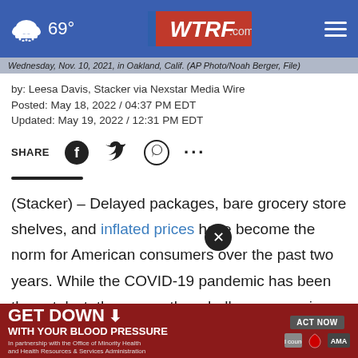WTRF.com | 69°
Wednesday, Nov. 10, 2021, in Oakland, Calif. (AP Photo/Noah Berger, File)
by: Leesa Davis, Stacker via Nexstar Media Wire
Posted: May 18, 2022 / 04:37 PM EDT
Updated: May 19, 2022 / 12:31 PM EDT
SHARE
(Stacker) – Delayed packages, bare grocery store shelves, and inflated prices have become the norm for American consumers over the past two years. While the COVID-19 pandemic has been the catalyst, there are other challenges causing supply chain issues, including goods from one place...